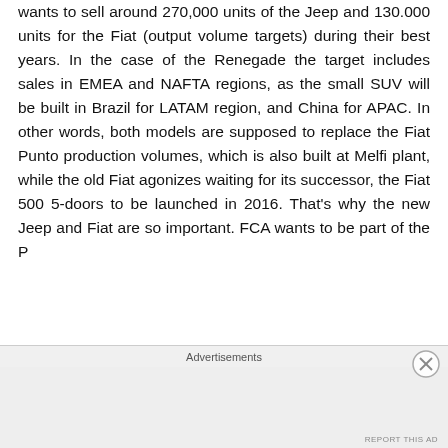wants to sell around 270,000 units of the Jeep and 130.000 units for the Fiat (output volume targets) during their best years. In the case of the Renegade the target includes sales in EMEA and NAFTA regions, as the small SUV will be built in Brazil for LATAM region, and China for APAC. In other words, both models are supposed to replace the Fiat Punto production volumes, which is also built at Melfi plant, while the old Fiat agonizes waiting for its successor, the Fiat 500 5-doors to be launched in 2016. That's why the new Jeep and Fiat are so important. FCA wants to be part of the P
Advertisements